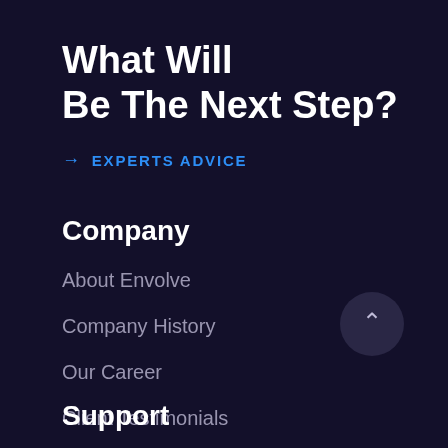What Will Be The Next Step?
→ EXPERTS ADVICE
Company
About Envolve
Company History
Our Career
Client Testimonials
Contact Us
Support